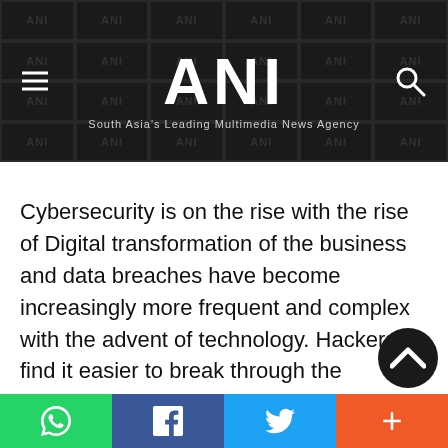ANI — South Asia's Leading Multimedia News Agency
Cybersecurity is on the rise with the rise of Digital transformation of the business and data breaches have become increasingly more frequent and complex with the advent of technology. Hackers find it easier to break through the vulnerabilities of the companies and access the confidential data. Canum Infotech was founded by Om Prakash Mishra in 2018 with the mission of providing world class quality full sta